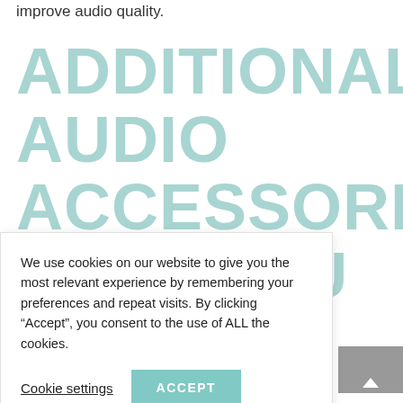improve audio quality.
ADDITIONAL AUDIO ACCESSORIES THAT YOU MAY
We use cookies on our website to give you the most relevant experience by remembering your preferences and repeat visits. By clicking “Accept”, you consent to the use of ALL the cookies.
Cookie settings  ACCEPT